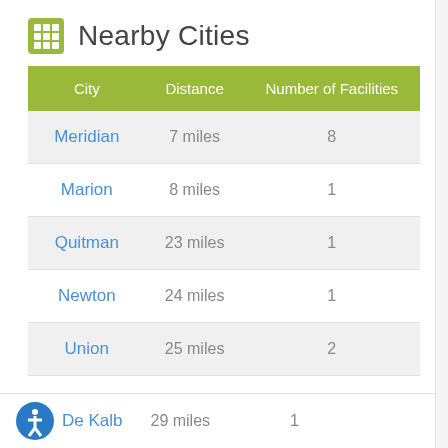Nearby Cities
| City | Distance | Number of Facilities |
| --- | --- | --- |
| Meridian | 7 miles | 8 |
| Marion | 8 miles | 1 |
| Quitman | 23 miles | 1 |
| Newton | 24 miles | 1 |
| Union | 25 miles | 2 |
| De Kalb | 29 miles | 1 |